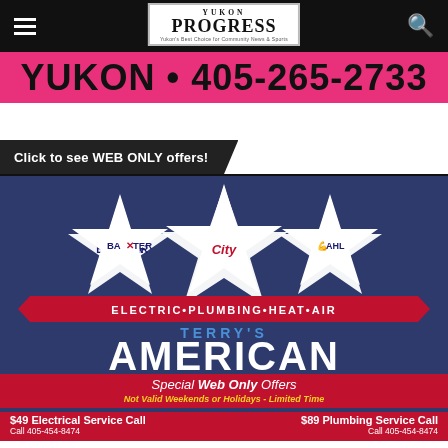Yukon Progress — navigation bar with hamburger menu, logo, and search icon
YUKON • 405-265-2733
Click to see WEB ONLY offers!
[Figure (illustration): Terry's American Electric Plumbing Heat Air advertisement. Three white stars on navy background with brand logos (BAXTER, City, DAHL) inside. Red ribbon reads ELECTRIC • PLUMBING • HEAT • AIR. Text: TERRY'S AMERICAN. Red section: Special Web Only Offers, Not Valid Weekends or Holidays - Limited Time, $49 Electrical Service Call, $89 Plumbing Service Call, Call 405-454-8474]